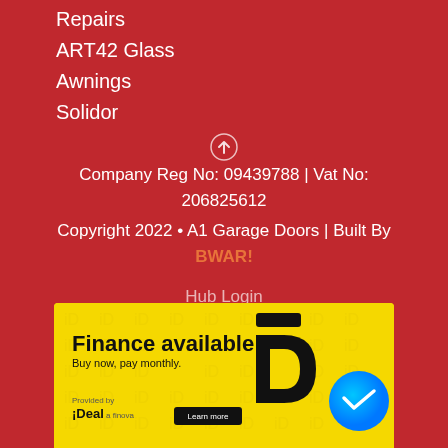Repairs
ART42 Glass
Awnings
Solidor
Company Reg No: 09439788 | Vat No: 206825612
Copyright 2022 • A1 Garage Doors | Built By BWAR!
Hub Login
[Figure (infographic): Yellow finance advertisement banner with repeating 'iD' watermark pattern. Text reads 'Finance available' in bold black, 'Buy now, pay monthly.' below. 'Provided by iDeal' logo at bottom left with 'Learn more' dark button. Black stylized 'D' logo icon on right side. Blue Facebook Messenger bubble icon overlapping bottom right corner.]